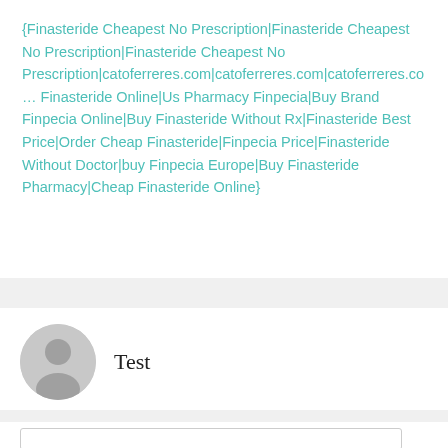{Finasteride Cheapest No Prescription|Finasteride Cheapest No Prescription|Finasteride Cheapest No Prescription|catoferreres.com|catoferreres.com|catoferreres.com|Finasteride Online|Us Pharmacy Finpecia|Buy Brand Finpecia Online|Buy Finasteride Without Rx|Finasteride Best Price|Order Cheap Finasteride|Finpecia Price|Finasteride Without Doctor|buy Finpecia Europe|Buy Finasteride Pharmacy|Cheap Finasteride Online}
[Figure (illustration): Generic user avatar icon — gray circle with silhouette of a person]
Test